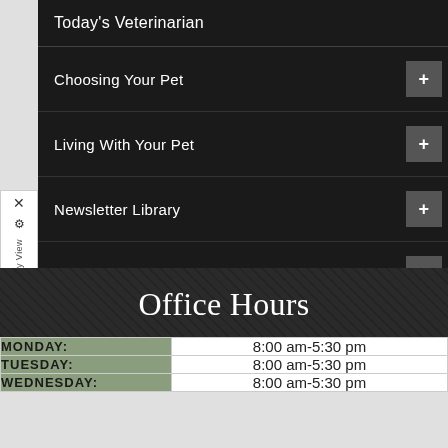Today's Veterinarian
Choosing Your Pet +
Living With Your Pet +
Newsletter Library +
Video Newsroom +
Pets4Kids
Office Hours
| DAY | HOURS |
| --- | --- |
| MONDAY: | 8:00 am-5:30 pm |
| TUESDAY: | 8:00 am-5:30 pm |
| WEDNESDAY: | 8:00 am-5:30 pm |